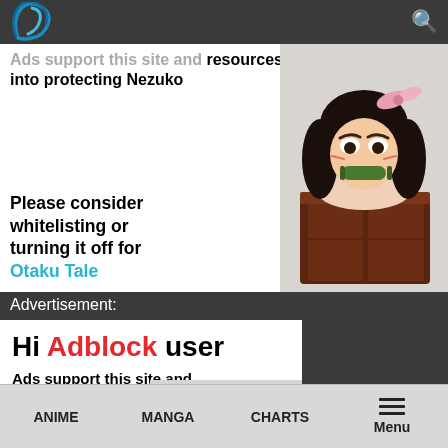[Logo] [Search icon]
Ads support this site and resources into protecting Nezuko
[Figure (illustration): Chibi Nezuko character from Demon Slayer, angry expression, holding a green bamboo mouthpiece, sitting behind a dark wooden box]
Please consider whitelisting or turning it off for Otaku Tale
Advertisement:
Hi Adblock user
Ads support this site and resources into protecting Nezuko
[Figure (illustration): Partial chibi Nezuko character, top of head visible with pink hair ribbon]
ANIME   MANGA   CHARTS   Menu